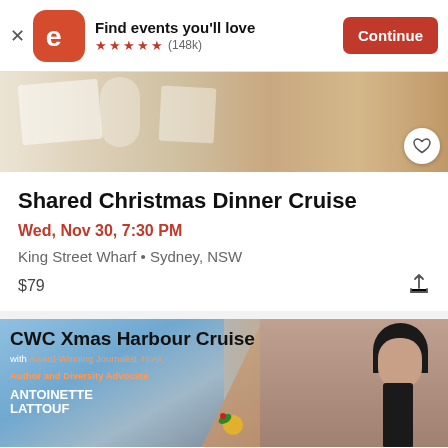[Figure (screenshot): App install banner for Eventbrite. Shows the Eventbrite 'e' icon in red/orange, text 'Find events you'll love', 5 star rating with '(148k)' reviews, and a red 'Continue' button. An X close button is on the left.]
[Figure (photo): Partial photo of a Christmas dinner table setting with white linens, glasses, and festive decorations. A heart/favorite button is visible in the bottom-right corner.]
Shared Christmas Dinner Cruise
Wed, Nov 30, 7:30 PM
King Street Wharf • Sydney, NSW
$79
[Figure (photo): Banner for 'CWC Xmas Harbour Cruise with Award-Winning Journalist, Host, Author and Diversity Advocate ANTOINETTE LATTOUF'. Features Sydney Harbour Bridge and Opera House imagery on the left, Christmas ornaments decoration, and a photo of Antoinette Lattouf on the right.]